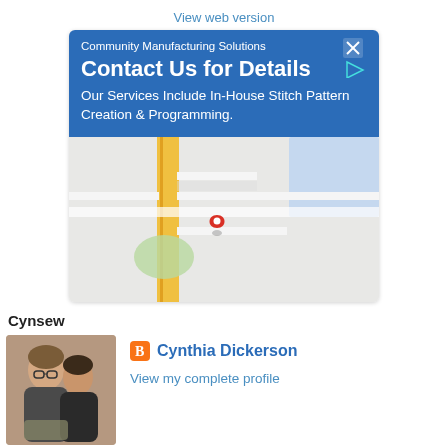View web version
[Figure (screenshot): Google ad for Community Manufacturing Solutions with blue background, headline 'Contact Us for Details', subtitle 'Our Services Include In-House Stitch Pattern Creation & Programming', close/AdChoices icons]
[Figure (map): Google Maps embedded map showing street layout with a red location pin marker in the center]
Directions
Call
Cynsew
[Figure (photo): Photo of two women posing together, smiling]
Cynthia Dickerson
View my complete profile
Powered by Blogger.